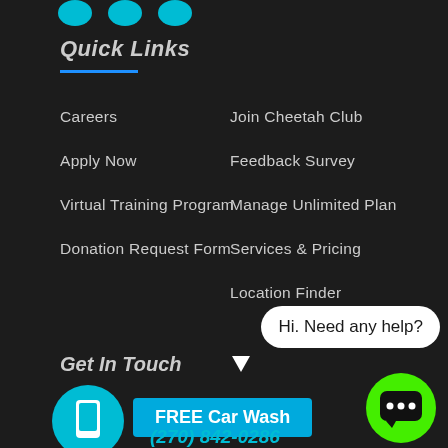Social media icons (partial, cropped at top)
Quick Links
Careers
Apply Now
Virtual Training Program
Donation Request Form
Join Cheetah Club
Feedback Survey
Manage Unlimited Plan
Services & Pricing
Location Finder
Hi. Need any help?
Get In Touch
FREE Car Wash
(270) 842-0286